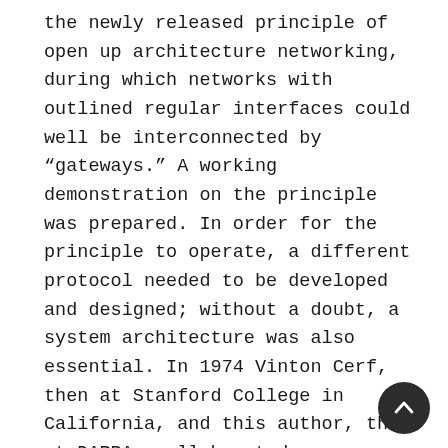the newly released principle of open up architecture networking, during which networks with outlined regular interfaces could well be interconnected by "gateways." A working demonstration on the principle was prepared. In order for the principle to operate, a different protocol needed to be developed and designed; without a doubt, a system architecture was also essential. In 1974 Vinton Cerf, then at Stanford College in California, and this author, then at DARPA, collaborated on a paper that initially described such a protocol and system architecture—specifically, the transmission Manage protocol (TCP), which enabled different types of machines on networks all over the earth to route and assemble facts packets. TCP, which originally integrated the online market place protocol